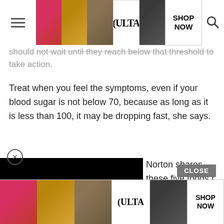[Figure (screenshot): ULTA beauty advertisement banner at top of page with makeup images, logo, and SHOP NOW button]
should not wait until they reach below that threshold to take action.
Treat when you feel the symptoms, even if your blood sugar is not below 70, because as long as it is less than 100, it may be dropping fast, she says.
[Figure (screenshot): Black video/advertisement overlay block with close X button]
Norton shares these five foods r.
occurs, patients should follow grams of carbohydrates to raise blood glucose and check your levels again after 15 minutes. When the numbers return to normal, eat a snack to stay on track.
[Figure (screenshot): ULTA beauty advertisement banner at bottom of page with makeup images, logo, and SHOP NOW button]